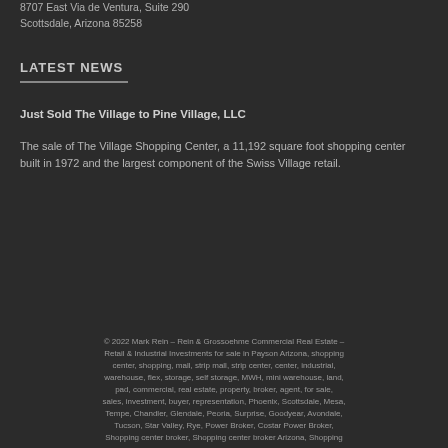8707 East Via de Ventura, Suite 290
Scottsdale, Arizona 85258
LATEST NEWS
Just Sold The Village to Pine Village, LLC
The sale of The Village Shopping Center, a 11,192 square foot shopping center built in 1972 and the largest component of the Swiss Village retail.
© 2022 Mark Rein – Rein & Grossoehme Commercial Real Estate – Retail & Industrial Investments for sale in Payson Arizona, shopping center, shopping, mall, strip mall, strip center, center, industrial, warehouse, flex, storage, self storage, MWH, mini warehouse, land, pad, commercial, real estate, property, broker, agent, for sale, sales, investment, buyer, representation, Phoenix, Scottsdale, Mesa, Tempe, Chandler, Glendale, Peoria, Surprise, Goodyear, Avondale, Tucson, Star Valley, Rye, Power Broker, Costar Power Broker, Shopping center broker, Shopping center broker Arizona, Shopping